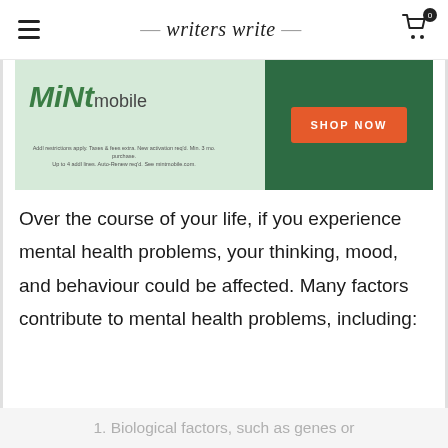writers write
[Figure (screenshot): Mint Mobile advertisement banner with green background, Mint Mobile logo, and orange 'SHOP NOW' button with fine print below]
Over the course of your life, if you experience mental health problems, your thinking, mood, and behaviour could be affected. Many factors contribute to mental health problems, including:
1. Biological factors, such as genes or